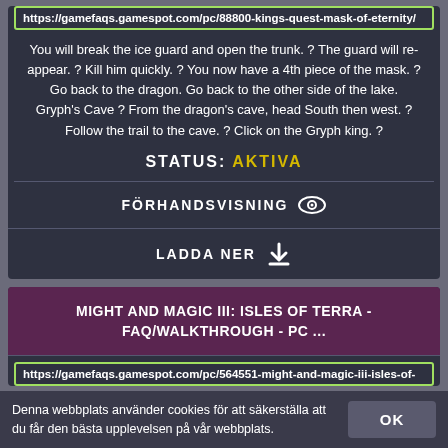https://gamefaqs.gamespot.com/pc/88800-kings-quest-mask-of-eternity/
You will break the ice guard and open the trunk. ? The guard will re-appear. ? Kill him quickly. ? You now have a 4th piece of the mask. ? Go back to the dragon. Go back to the other side of the lake. Gryph's Cave ? From the dragon's cave, head South then west. ? Follow the trail to the cave. ? Click on the Gryph king. ?
STATUS: AKTIVA
FÖRHANDSVISNING
LADDA NER
MIGHT AND MAGIC III: ISLES OF TERRA - FAQ/WALKTHROUGH - PC ...
https://gamefaqs.gamespot.com/pc/564551-might-and-magic-iii-isles-of-
Denna webbplats använder cookies för att säkerställa att du får den bästa upplevelsen på vår webbplats.
OK